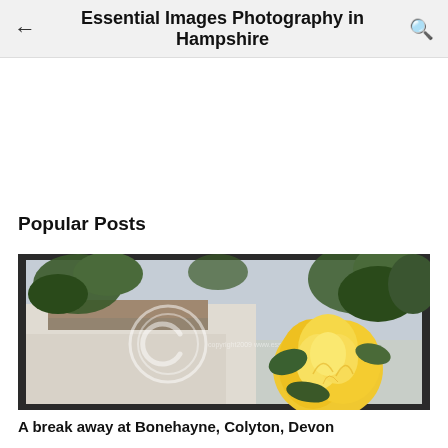Essential Images Photography in Hampshire
Popular Posts
[Figure (photo): Close-up photograph of a yellow rose in bloom with blurred building and green leaves in background, with a copyright watermark overlay]
A break away at Bonehayne, Colyton, Devon
Bonehayne Farm, Colyton, Devon Malcolm and I took a few days